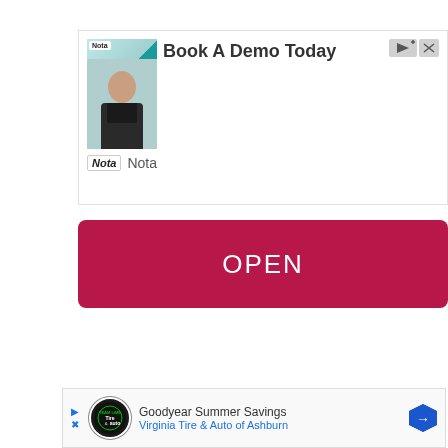[Figure (other): Advertisement banner for Nota with 'Book A Demo Today' text, showing a woman in business attire and Nota branding logo]
[Figure (other): Red OPEN button]
| Date of Birth | 1961-04-05 |
[Figure (other): Advertisement for Goodyear Summer Savings - Virginia Tire & Auto of Ashburn, with Goodyear logo and navigation arrow icon]